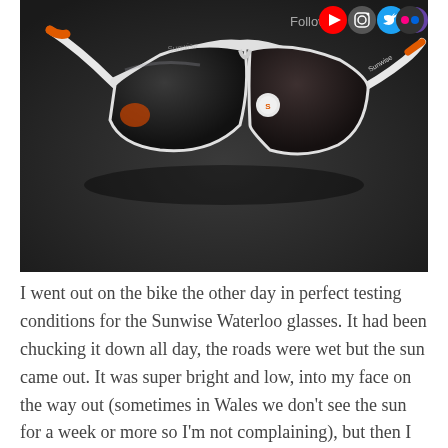[Figure (photo): Close-up photo of white Sunwise Waterloo cycling sunglasses with dark lenses and orange accents, placed on a dark surface. Social media follow icons (YouTube, Instagram, Twitter, Twitch, Flickr) visible in the top right corner of the image.]
I went out on the bike the other day in perfect testing conditions for the Sunwise Waterloo glasses. It had been chucking it down all day, the roads were wet but the sun came out. It was super bright and low, into my face on the way out (sometimes in Wales we don't see the sun for a week or more so I'm not complaining), but then I was hidden in the shade on a wooded hill to knock